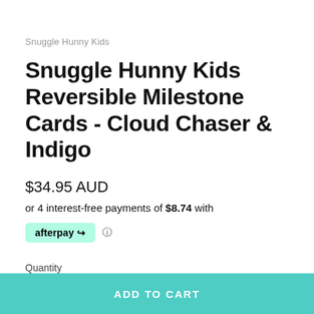Snuggle Hunny Kids
Snuggle Hunny Kids Reversible Milestone Cards - Cloud Chaser & Indigo
$34.95 AUD
or 4 interest-free payments of $8.74 with
[Figure (logo): Afterpay logo badge in mint green with afterpay text and chain-link arrow icon]
Quantity
1
ADD TO CART